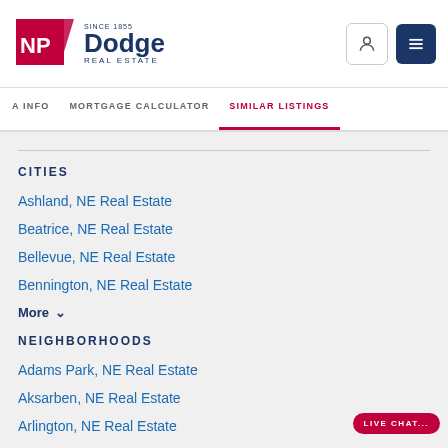[Figure (logo): NP Dodge Real Estate logo - red square with NP in white, text 'Dodge' in dark blue, 'SINCE 1855' above, 'REAL ESTATE' below]
A INFO   MORTGAGE CALCULATOR   SIMILAR LISTINGS
CITIES
Ashland, NE Real Estate
Beatrice, NE Real Estate
Bellevue, NE Real Estate
Bennington, NE Real Estate
More
NEIGHBORHOODS
Adams Park, NE Real Estate
Aksarben, NE Real Estate
Arlington, NE Real Estate